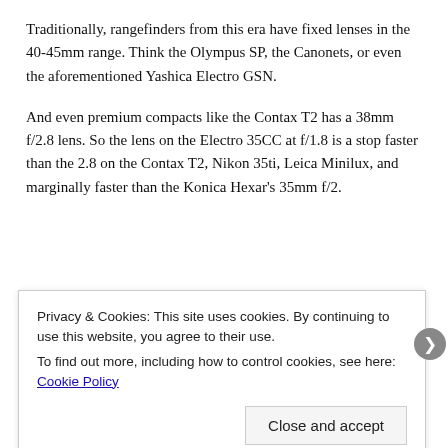Traditionally, rangefinders from this era have fixed lenses in the 40-45mm range. Think the Olympus SP, the Canonets, or even the aforementioned Yashica Electro GSN.
And even premium compacts like the Contax T2 has a 38mm f/2.8 lens. So the lens on the Electro 35CC at f/1.8 is a stop faster than the 2.8 on the Contax T2, Nikon 35ti, Leica Minilux, and marginally faster than the Konica Hexar's 35mm f/2.
Privacy & Cookies: This site uses cookies. By continuing to use this website, you agree to their use.
To find out more, including how to control cookies, see here: Cookie Policy